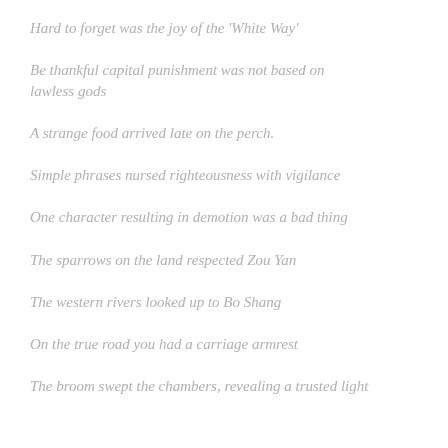Hard to forget was the joy of the 'White Way'
Be thankful capital punishment was not based on lawless gods
A strange food arrived late on the perch.
Simple phrases nursed righteousness with vigilance
One character resulting in demotion was a bad thing
The sparrows on the land respected Zou Yan
The western rivers looked up to Bo Shang
On the true road you had a carriage armrest
The broom swept the chambers, revealing a trusted light